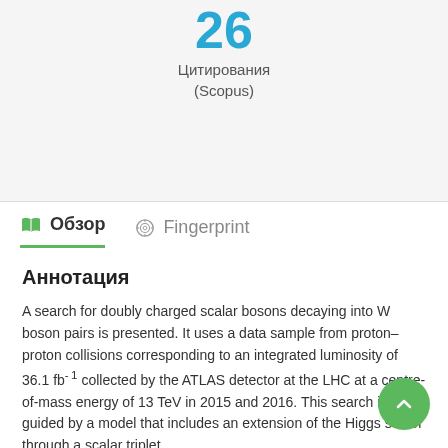26
Цитирования
(Scopus)
Обзор
Fingerprint
Аннотация
A search for doubly charged scalar bosons decaying into W boson pairs is presented. It uses a data sample from proton–proton collisions corresponding to an integrated luminosity of 36.1 fb⁻¹ collected by the ATLAS detector at the LHC at a centre-of-mass energy of 13 TeV in 2015 and 2016. This search is guided by a model that includes an extension of the Higgs sector through a scalar triplet.